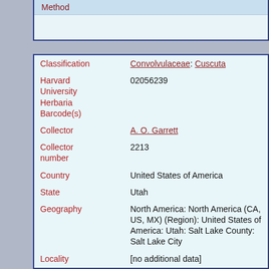| Field | Value |
| --- | --- |
| Method |  |
| Classification | Convolvulaceae: Cuscuta |
| Harvard University Herbaria Barcode(s) | 02056239 |
| Collector | A. O. Garrett |
| Collector number | 2213 |
| Country | United States of America |
| State | Utah |
| Geography | North America: North America (CA, US, MX) (Region): United States of America: Utah: Salt Lake County: Salt Lake City |
| Locality | [no additional data] |
| Date Collected | 1907-10-26 |
| Habitat | On Mentha |
| Container | Flora of Utah |
| Project | US and Canada - Mass Digitization |